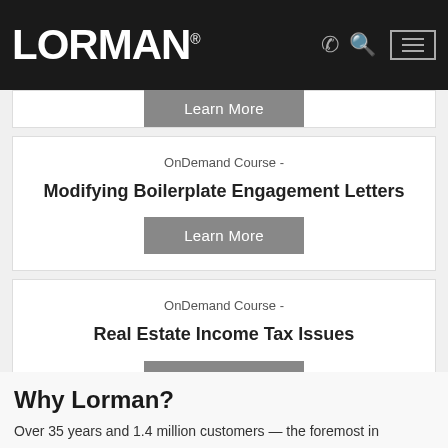LORMAN
OnDemand Course -
Modifying Boilerplate Engagement Letters
Learn More
OnDemand Course -
Real Estate Income Tax Issues
Learn More
Why Lorman?
Over 35 years and 1.4 million customers — the foremost in...